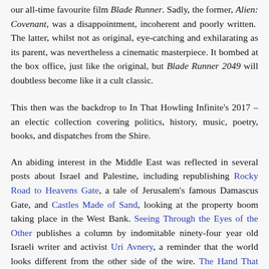our all-time favourite film Blade Runner. Sadly, the former, Alien: Covenant, was a disappointment, incoherent and poorly written. The latter, whilst not as original, eye-catching and exhilarating as its parent, was nevertheless a cinematic masterpiece. It bombed at the box office, just like the original, but Blade Runner 2049 will doubtless become like it a cult classic.
This then was the backdrop to In That Howling Infinite's 2017 – an electic collection covering politics, history, music, poetry, books, and dispatches from the Shire.
An abiding interest in the Middle East was reflected in several posts about Israel and Palestine, including republishing Rocky Road to Heavens Gate, a tale of Jerusalem's famous Damascus Gate, and Castles Made of Sand, looking at the property boom taking place in the West Bank. Seeing Through the Eyes of the Other publishes a column by indomitable ninety-four year old Israeli writer and activist Uri Avnery, a reminder that the world looks different from the other side of the wire. The Hand That Signed the Paper examines the